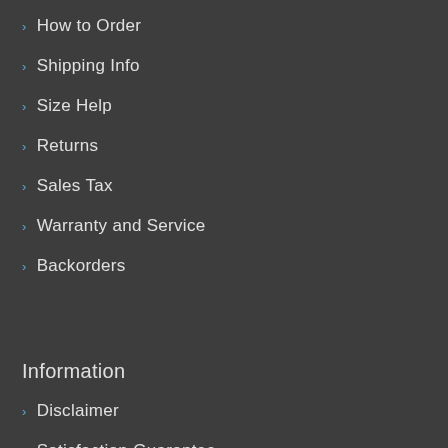How to Order
Shipping Info
Size Help
Returns
Sales Tax
Warranty and Service
Backorders
Information
Disclaimer
Satisfaction Guarantee
Privacy Policy